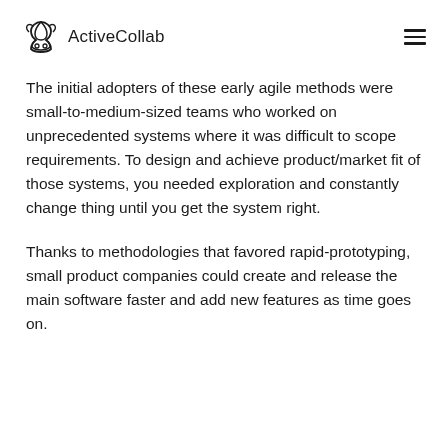ActiveCollab
The initial adopters of these early agile methods were small-to-medium-sized teams who worked on unprecedented systems where it was difficult to scope requirements. To design and achieve product/market fit of those systems, you needed exploration and constantly change thing until you get the system right.
Thanks to methodologies that favored rapid-prototyping, small product companies could create and release the main software faster and add new features as time goes on.